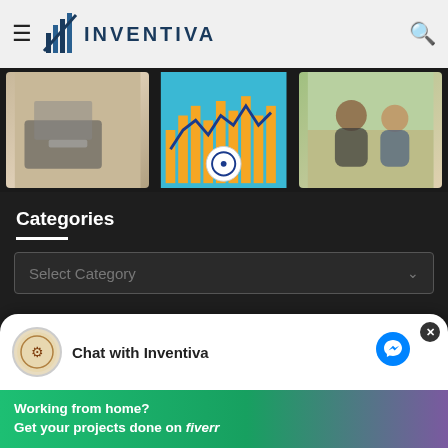Inventiva
[Figure (screenshot): Three thumbnail images in a row: person writing with laptop, Indian stock market chart with flag, two people in business meeting]
Categories
Select Category
inventiva_300x600
Chat with Inventiva
[Figure (infographic): Fiverr advertisement banner: Working from home? Get your projects done on fiverr]